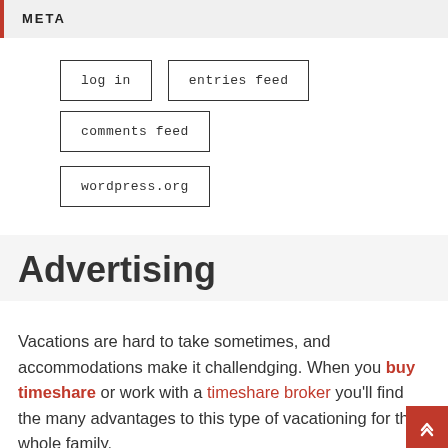META
log in
entries feed
comments feed
wordpress.org
Advertising
Vacations are hard to take sometimes, and accommodations make it challendging. When you buy timeshare or work with a timeshare broker you'll find the many advantages to this type of vacationing for the whole family.